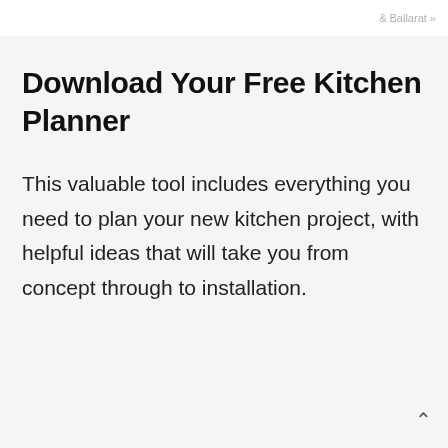& Ballarat »
Download Your Free Kitchen Planner
This valuable tool includes everything you need to plan your new kitchen project, with helpful ideas that will take you from concept through to installation.